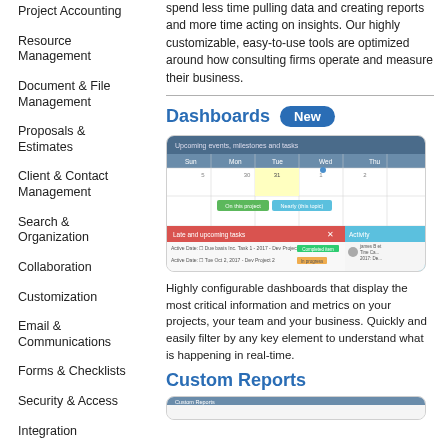Project Accounting
Resource Management
Document & File Management
Proposals & Estimates
Client & Contact Management
Search & Organization
Collaboration
Customization
Email & Communications
Forms & Checklists
Security & Access
Integration
spend less time pulling data and creating reports and more time acting on insights. Our highly customizable, easy-to-use tools are optimized around how consulting firms operate and measure their business.
Dashboards
[Figure (screenshot): Screenshot of a dashboard interface showing a calendar view with upcoming events, milestones and tasks, plus a Late and upcoming tasks panel and Activity feed.]
Highly configurable dashboards that display the most critical information and metrics on your projects, your team and your business. Quickly and easily filter by any key element to understand what is happening in real-time.
Custom Reports
[Figure (screenshot): Partial screenshot of a Custom Reports interface.]